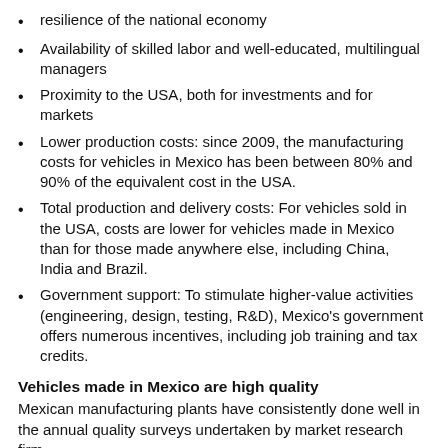resilience of the national economy
Availability of skilled labor and well-educated, multilingual managers
Proximity to the USA, both for investments and for markets
Lower production costs: since 2009, the manufacturing costs for vehicles in Mexico has been between 80% and 90% of the equivalent cost in the USA.
Total production and delivery costs: For vehicles sold in the USA, costs are lower for vehicles made in Mexico than for those made anywhere else, including China, India and Brazil.
Government support: To stimulate higher-value activities (engineering, design, testing, R&D), Mexico's government offers numerous incentives, including job training and tax credits.
Vehicles made in Mexico are high quality
Mexican manufacturing plants have consistently done well in the annual quality surveys undertaken by market research firm